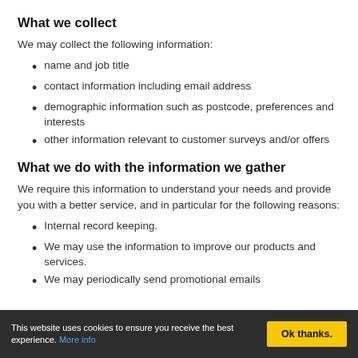What we collect
We may collect the following information:
name and job title
contact information including email address
demographic information such as postcode, preferences and interests
other information relevant to customer surveys and/or offers
What we do with the information we gather
We require this information to understand your needs and provide you with a better service, and in particular for the following reasons:
Internal record keeping.
We may use the information to improve our products and services.
We may periodically send promotional emails
This website uses cookies to ensure you receive the best experience. More info  Ok thanks.